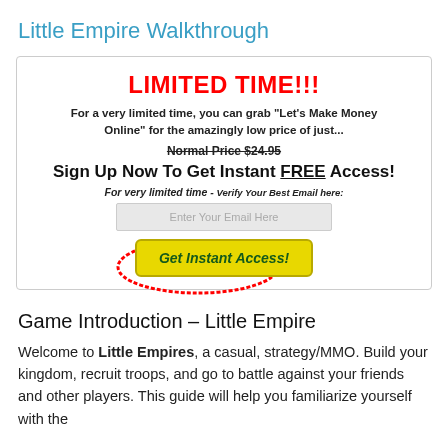Little Empire Walkthrough
[Figure (screenshot): Advertisement box with 'LIMITED TIME!!!' header in red bold text, body text about a limited time offer for 'Let's Make Money Online', a strikethrough normal price of $24.95, a large 'Sign Up Now To Get Instant FREE Access!' heading, an email input field, and a yellow 'Get Instant Access!' button with a red oval drawn around it.]
Game Introduction – Little Empire
Welcome to Little Empires, a casual, strategy/MMO. Build your kingdom, recruit troops, and go to battle against your friends and other players. This guide will help you familiarize yourself with the